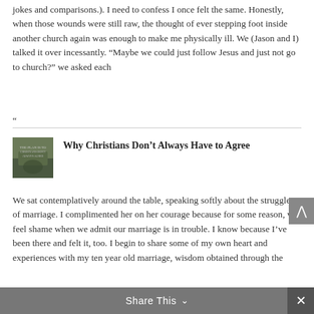jokes and comparisons.). I need to confess I once felt the same. Honestly, when those wounds were still raw, the thought of ever stepping foot inside another church again was enough to make me physically ill. We (Jason and I) talked it over incessantly. “Maybe we could just follow Jesus and just not go to church?” we asked each
“
[Figure (photo): Small thumbnail image with dark green/grey tones, text overlay, appears to be a religious or nature themed image]
Why Christians Don’t Always Have to Agree
We sat contemplatively around the table, speaking softly about the struggles of marriage. I complimented her on her courage because for some reason, we feel shame when we admit our marriage is in trouble. I know because I’ve been there and felt it, too. I begin to share some of my own heart and experiences with my ten year old marriage, wisdom obtained through the
Share This